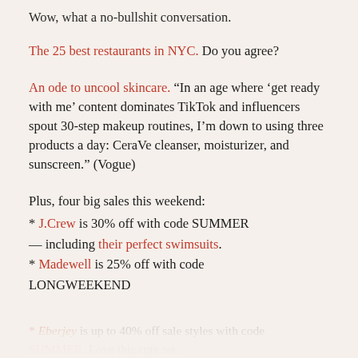Wow, what a no-bullshit conversation.
The 25 best restaurants in NYC. Do you agree?
An ode to uncool skincare. “In an age where ‘get ready with me’ content dominates TikTok and influencers spout 30-step makeup routines, I’m down to using three products a day: CeraVe cleanser, moisturizer, and sunscreen.” (Vogue)
Plus, four big sales this weekend:
* J.Crew is 30% off with code SUMMER — including their perfect swimsuits.
* Madewell is 25% off with code LONGWEEKEND
* Eberjey is up to 40% off sale styles with code SUMMER. Love this cute set.